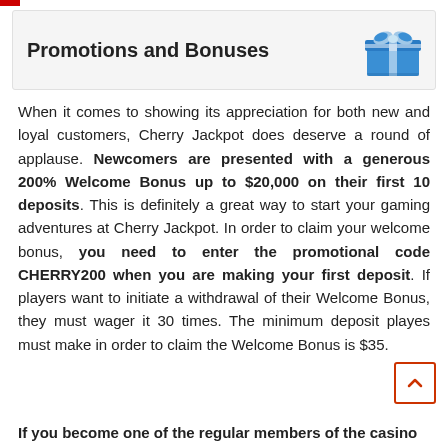Promotions and Bonuses
When it comes to showing its appreciation for both new and loyal customers, Cherry Jackpot does deserve a round of applause. Newcomers are presented with a generous 200% Welcome Bonus up to $20,000 on their first 10 deposits. This is definitely a great way to start your gaming adventures at Cherry Jackpot. In order to claim your welcome bonus, you need to enter the promotional code CHERRY200 when you are making your first deposit. If players want to initiate a withdrawal of their Welcome Bonus, they must wager it 30 times. The minimum deposit playes must make in order to claim the Welcome Bonus is $35.
If you become one of the regular members of the casino